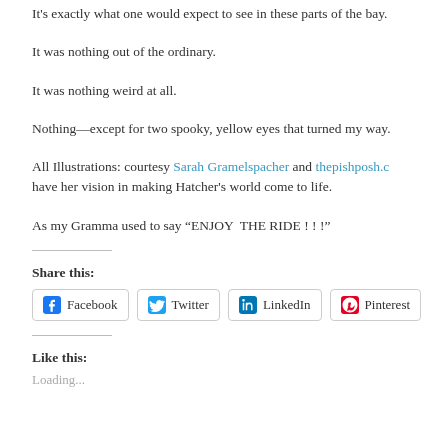It's exactly what one would expect to see in these parts of the bay.
It was nothing out of the ordinary.
It was nothing weird at all.
Nothing—except for two spooky, yellow eyes that turned my way.
All Illustrations: courtesy Sarah Gramelspacher and thepishposh.c... have her vision in making Hatcher's world come to life.
As my Gramma used to say “ENJOY  THE RIDE ! ! !”
Share this:
[Figure (other): Social share buttons: Facebook, Twitter, LinkedIn, Pinterest]
Like this:
Loading...